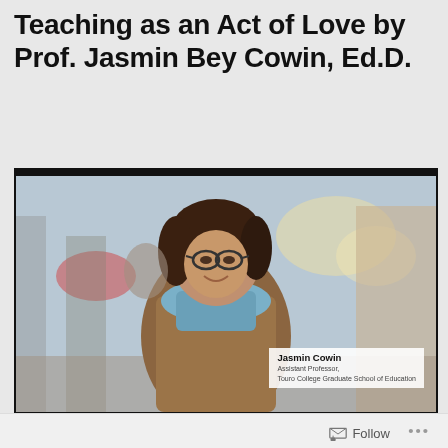Teaching as an Act of Love by Prof. Jasmin Bey Cowin, Ed.D.
[Figure (photo): Photo of Prof. Jasmin Cowin, a woman with dark hair and glasses wearing a brown coat and light blue scarf, smiling at the camera on a city street. A name badge overlay reads: Jasmin Cowin, Assistant Professor, Touro College Graduate School of Education.]
Touro College, Graduate School of Education